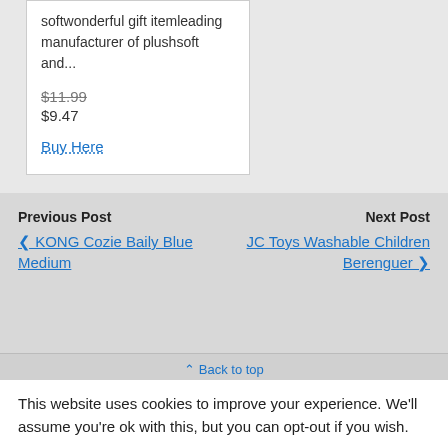softwonderful gift itemleading manufacturer of plushsoft and...
$11.99
$9.47
Buy Here
Previous Post
< KONG Cozie Baily Blue Medium
Next Post
JC Toys Washable Children Berenguer >
^ Back to top
This website uses cookies to improve your experience. We'll assume you're ok with this, but you can opt-out if you wish.